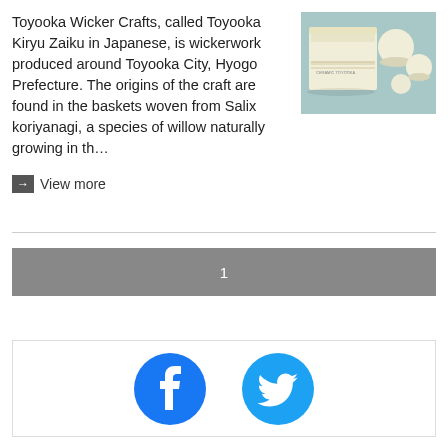Toyooka Wicker Crafts, called Toyooka Kiryu Zaiku in Japanese, is wickerwork produced around Toyooka City, Hyogo Prefecture. The origins of the craft are found in the baskets woven from Salix koriyanagi, a species of willow naturally growing in th…
[Figure (photo): Photo of white wicker/ceramic craft items including a box and rounded objects on a light blue background]
→ View more
1
[Figure (logo): Facebook and Twitter social media icons]